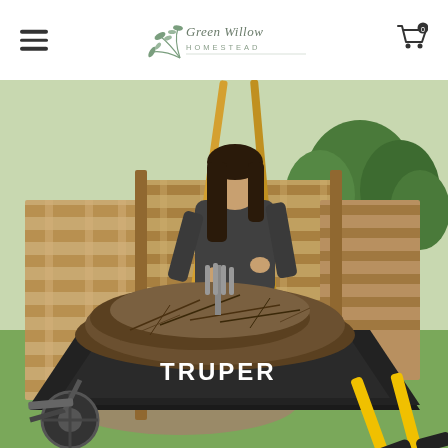Green Willow Homestead — navigation header with hamburger menu and cart icon
[Figure (photo): A woman shoveling compost/mulch from a large pallet wood compost bin into a black Truper wheelbarrow in an outdoor homestead setting with green grass and trees in the background.]